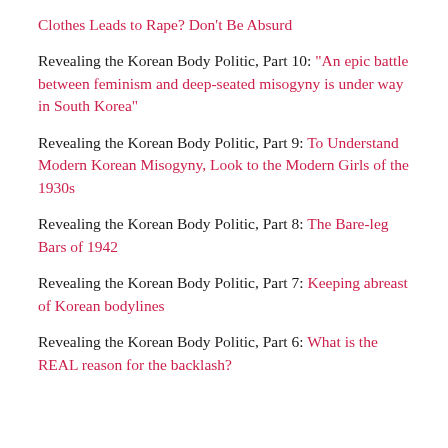Clothes Leads to Rape? Don't Be Absurd
Revealing the Korean Body Politic, Part 10: “An epic battle between feminism and deep-seated misogyny is under way in South Korea”
Revealing the Korean Body Politic, Part 9: To Understand Modern Korean Misogyny, Look to the Modern Girls of the 1930s
Revealing the Korean Body Politic, Part 8: The Bare-leg Bars of 1942
Revealing the Korean Body Politic, Part 7: Keeping abreast of Korean bodylines
Revealing the Korean Body Politic, Part 6: What is the REAL reason for the backlash?